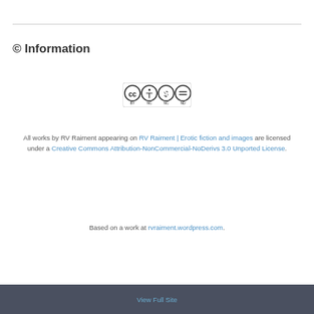© Information
[Figure (logo): Creative Commons BY-NC-ND license badge]
All works by RV Raiment appearing on RV Raiment | Erotic fiction and images are licensed under a Creative Commons Attribution-NonCommercial-NoDerivs 3.0 Unported License.
Based on a work at rvraiment.wordpress.com.
View Full Site